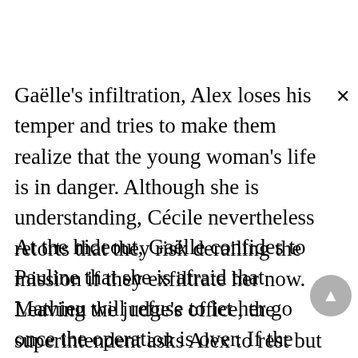Gaëlle's infiltration, Alex loses his temper and tries to make them realize that the young woman's life is in danger. Although she is understanding, Cécile nevertheless retorts that they risk derailing the mission if they exfiltrate her now. Leaving the judge's office, the superintendent asks Alex to rest but the latter refuses because he has promised to protect her.
At the hideout, Gaëlle confides to Pauline that she is afraid that Mathieu will refuse to let her go once the operation is over. If the latter plays the tough guy, Pauline however points out to him that it's JC the